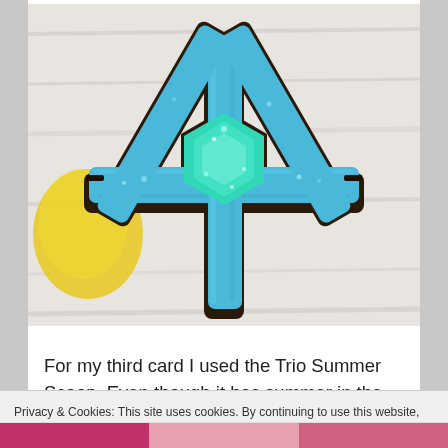[Figure (photo): A blue glittery snowflake-shaped cake or brownie on a white wooden surface. The snowflake has a teal/mint glittery center and blue sparkly sugar-coated arms, with dark chocolate brownie layers visible at the edges.]
For my third card I used the Trio Summer Scoop. Even though it has summer in the name, it makes a perfect pastel Christmas card.
Privacy & Cookies: This site uses cookies. By continuing to use this website, you agree to their use.
To find out more, including how to control cookies, see here: Cookie Policy
Close and accept
[Figure (photo): Bottom strip showing partial thumbnail images: a pink Christmas ornament on the left, a pinkish card in the middle, and another image on the right.]